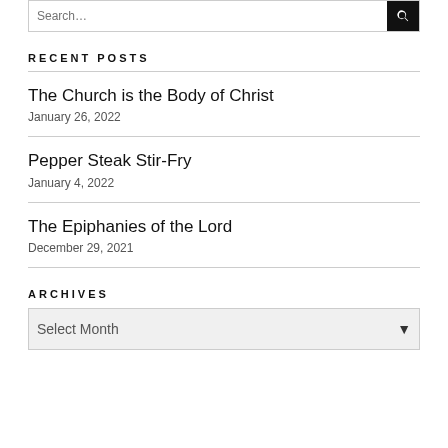RECENT POSTS
The Church is the Body of Christ
January 26, 2022
Pepper Steak Stir-Fry
January 4, 2022
The Epiphanies of the Lord
December 29, 2021
ARCHIVES
Select Month